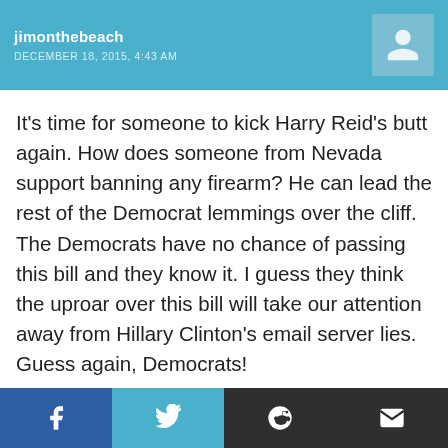jimonthebeach
DECEMBER 18, 2015, 4:43 AM
It's time for someone to kick Harry Reid's butt again. How does someone from Nevada support banning any firearm? He can lead the rest of the Democrat lemmings over the cliff. The Democrats have no chance of passing this bill and they know it. I guess they think the uproar over this bill will take our attention away from Hillary Clinton's email server lies. Guess again, Democrats!
[Figure (other): Upvote and downvote buttons (grey square icons)]
[Figure (other): Social sharing bar with Facebook, Twitter, Reddit, and email buttons; next comment header with avatar]